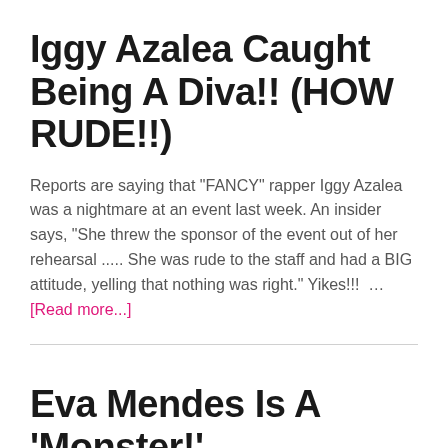Iggy Azalea Caught Being A Diva!! (HOW RUDE!!)
Reports are saying that "FANCY" rapper Iggy Azalea was a nightmare at an event last week. An insider says, "She threw the sponsor of the event out of her rehearsal ..... She was rude to the staff and had a BIG attitude, yelling that nothing was right." Yikes!!! … [Read more...]
Eva Mendes Is A 'Monster!'